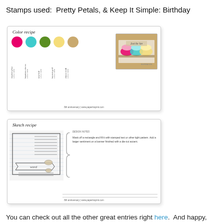Stamps used:  Pretty Petals, & Keep It Simple: Birthday
[Figure (photo): Color recipe card from Papertrey Ink 8th anniversary, showing 5 ink color circles (raspberry fizz, hawaiian shores, new leaf, harvest gold, classic kraft) with vertical labels, and a photo of layered bowls card on right. Footer: 8th anniversary | www.papertrayink.com]
[Figure (photo): Sketch recipe card from Papertrey Ink 8th anniversary, showing a card sketch with a rectangle filled with stamped text lines and a banner with 'word' label and butterfly accent, plus curly brace with instructions. Footer: 8th anniversary | www.papertrayink.com]
You can check out all the other great entries right here.  And happy, happy 8th Anniversary Papertrey Ink...everything about you is just AMAZING!!